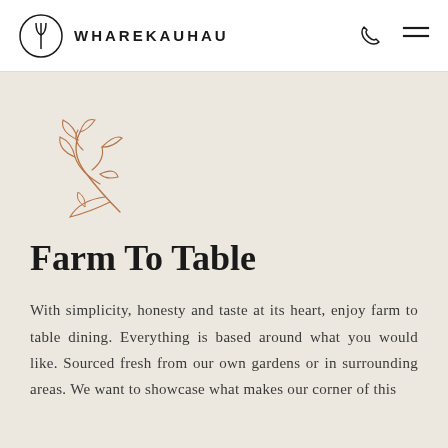WHAREKAUHAU
[Figure (illustration): Decorative botanical leaf/branch line drawing in terracotta/copper color]
Farm To Table
With simplicity, honesty and taste at its heart, enjoy farm to table dining. Everything is based around what you would like. Sourced fresh from our own gardens or in surrounding areas. We want to showcase what makes our corner of this